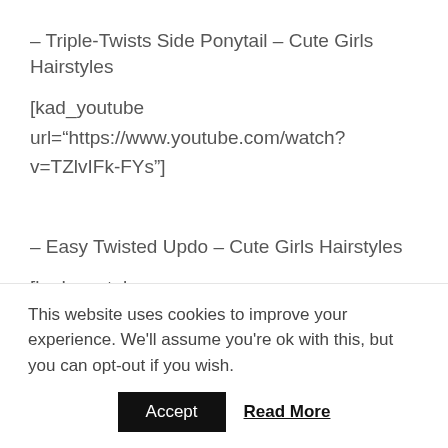– Triple-Twists Side Ponytail – Cute Girls Hairstyles
[kad_youtube url="https://www.youtube.com/watch?v=TZlvIFk-FYs"]
– Easy Twisted Updo – Cute Girls Hairstyles
[kad_youtube url="https://www.youtube.com/watch?
This website uses cookies to improve your experience. We'll assume you're ok with this, but you can opt-out if you wish.
Accept   Read More